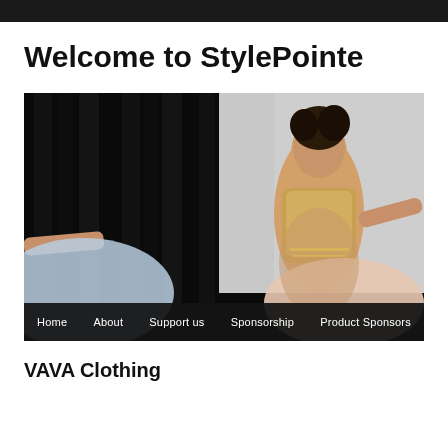Welcome to StylePointe
[Figure (photo): A ballet dancer in a golden costume with arms extended, photographed against a dark curtain and light grey background. Navigation bar at bottom with links: Home, About, Support us, Sponsorship, Product Sponsors.]
VAVA Clothing